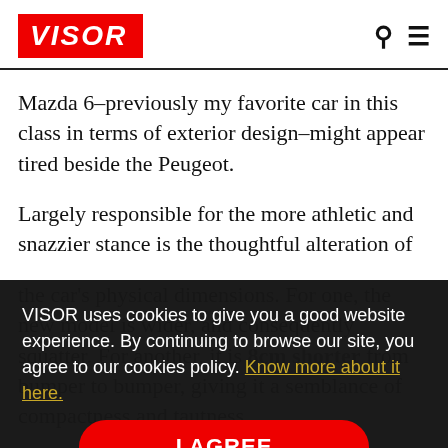VISOR
Mazda 6–previously my favorite car in this class in terms of exterior design–might appear tired beside the Peugeot.
Largely responsible for the more athletic and snazzier stance is the thoughtful alteration of the car's physical dimensions. For one, the new model is wider, and consequently squatter. For another, it is 8cm shorter from bumper to bumper, giving it a semblance of compactness and tautness.
VISOR uses cookies to give you a good website experience. By continuing to browse our site, you agree to our cookies policy. Know more about it here.